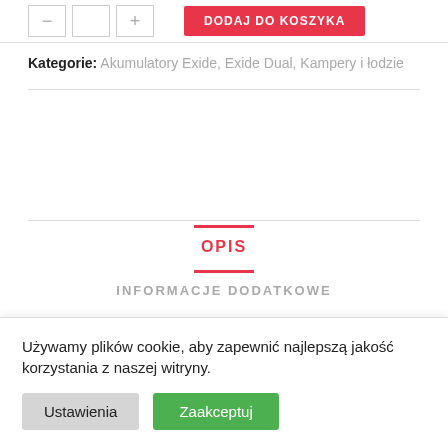[Figure (screenshot): Top area showing quantity selector buttons (minus, number, plus) and red DODAJ DO KOSZYKA button]
Kategorie: Akumulatory Exide, Exide Dual, Kampery i łodzie
OPIS
INFORMACJE DODATKOWE
Opis
Używamy plików cookie, aby zapewnić najlepszą jakość korzystania z naszej witryny.